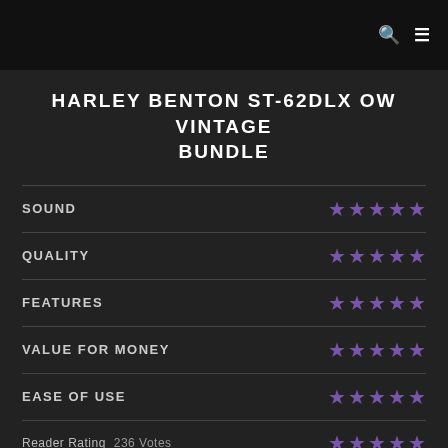HARLEY BENTON ST-62DLX OW VINTAGE BUNDLE
SOUND ★★★★★
QUALITY ★★★★★
FEATURES ★★★★★
VALUE FOR MONEY ★★★★★
EASE OF USE ★★★★★
Reader Rating  236 Votes ★★★★★